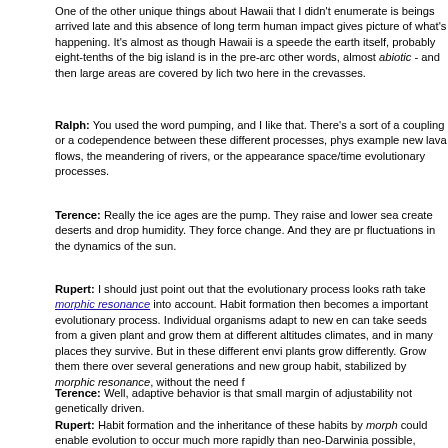One of the other unique things about Hawaii that I didn't enumerate is beings arrived late and this absence of long term human impact gives picture of what's happening. It's almost as though Hawaii is a speede the earth itself, probably eight-tenths of the big island is in the pre-arc other words, almost abiotic - and then large areas are covered by lich two here in the crevasses.
Ralph: You used the word pumping, and I like that. There's a sort of a coupling or a codependence between these different processes, phys example new lava flows, the meandering of rivers, or the appearance space/time evolutionary processes.
Terence: Really the ice ages are the pump. They raise and lower sea create deserts and drop humidity. They force change. And they are pr fluctuations in the dynamics of the sun.
Rupert: I should just point out that the evolutionary process looks rath take morphic resonance into account. Habit formation then becomes a important evolutionary process. Individual organisms adapt to new en can take seeds from a given plant and grow them at different altitudes climates, and in many places they survive. But in these different envi plants grow differently. Grow them there over several generations and new group habit, stabilized by morphic resonance, without the need f
Terence: Well, adaptive behavior is that small margin of adjustability not genetically driven.
Rupert: Habit formation and the inheritance of these habits by morph could enable evolution to occur much more rapidly than neo-Darwinia possible, because they ascribe almost everything to slow statistical ch